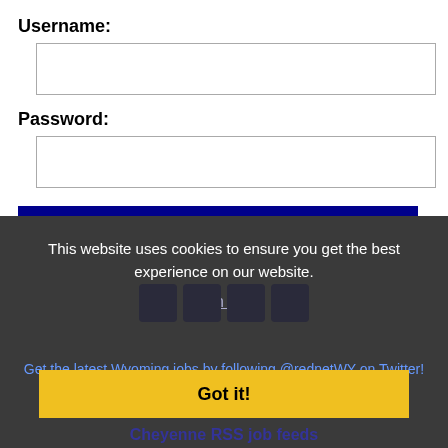Username:
[Figure (screenshot): Empty text input field for username]
Password:
[Figure (screenshot): Empty text input field for password]
Log In
Forgot password?
This website uses cookies to ensure you get the best experience on our website.
Learn more
[Figure (screenshot): Social media icon buttons (Facebook, Twitter, etc.) displayed as dark boxes]
Get the latest Wyoming jobs by following @rednetWY on Twitter!
Got it!
Cheyenne RSS job feeds